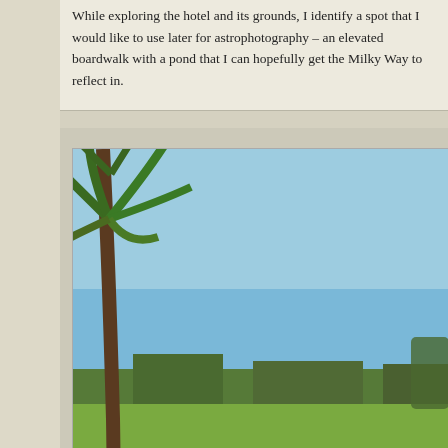While exploring the hotel and its grounds, I identify a spot that I would like to use later for astrophotography – an elevated boardwalk with a pond that I can hopefully get the Milky Way to reflect in.
[Figure (photo): Outdoor photograph showing a wetland or pond area with green grass and shallow water, palm trees on the left side, trees along the horizon, and a clear blue sky. A wooden boardwalk or fence is visible in the middle distance.]
Dinner
[Figure (photo): Partial photograph showing a blue sky with power lines visible and palm trees in the lower right area, appears to be an outdoor dinner location setting.]